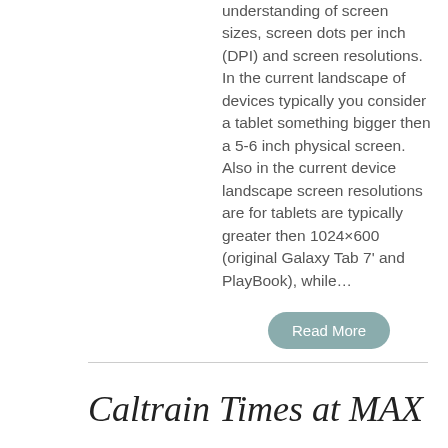understanding of screen sizes, screen dots per inch (DPI) and screen resolutions. In the current landscape of devices typically you consider a tablet something bigger then a 5-6 inch physical screen. Also in the current device landscape screen resolutions are for tablets are typically greater then 1024×600 (original Galaxy Tab 7' and PlayBook), while…
Read More
Caltrain Times at MAX